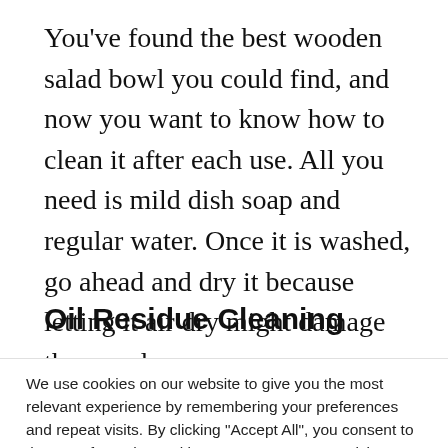You've found the best wooden salad bowl you could find, and now you want to know how to clean it after each use. All you need is mild dish soap and regular water. Once it is washed, go ahead and dry it because letting it air dry might damage the wood.
Oil Residue Cleaning
We use cookies on our website to give you the most relevant experience by remembering your preferences and repeat visits. By clicking "Accept All", you consent to the use of ALL the cookies. However, you may visit "Cookie Settings" to provide a controlled consent.